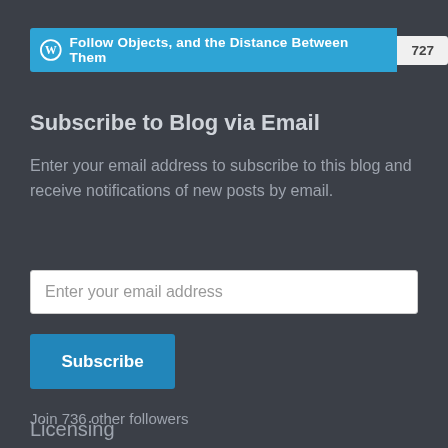[Figure (screenshot): WordPress Follow button bar showing 'Follow Objects, and the Distance Between Them' with follower count 727]
Subscribe to Blog via Email
Enter your email address to subscribe to this blog and receive notifications of new posts by email.
Enter your email address
Subscribe
Join 736 other followers
Licensing